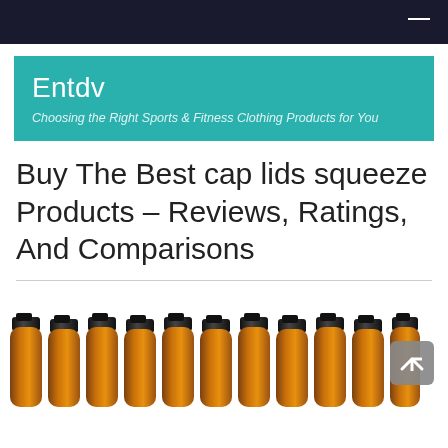Entdv
Choosing the Right Sports & Fitness Clothing Products for You
Buy The Best cap lids squeeze Products – Reviews, Ratings, And Comparisons
[Figure (photo): A row of amber/brown plastic squeeze bottles with black flip cap lids, lined up side by side]